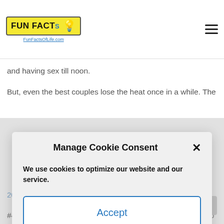FunFactsOfLife.com
and having sex till noon.
But, even the best couples lose the heat once in a while. The
Manage Cookie Consent
We use cookies to optimize our website and our service.
Accept
Cookie Policy   Privacy Statement
20 racy ways to keep monogamous sex spicy]
#4 Forgive. One of the biggest hardships to any relationship is the art of forgiving. When you establish a long-term relationship, there will always be things you can do to hu one another. Whether intentional or not, if you don't forgive